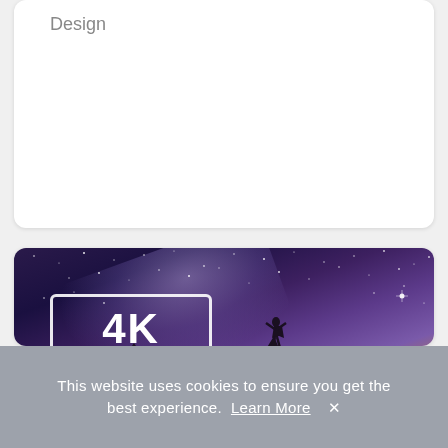Design
[Figure (photo): Night sky with Milky Way and silhouette of mountains and a person standing on a peak with arms raised. A 4K Ultra HD badge is overlaid on the left side of the image.]
When is 4K Right for Digital Signage?
This website uses cookies to ensure you get the best experience. Learn More ×